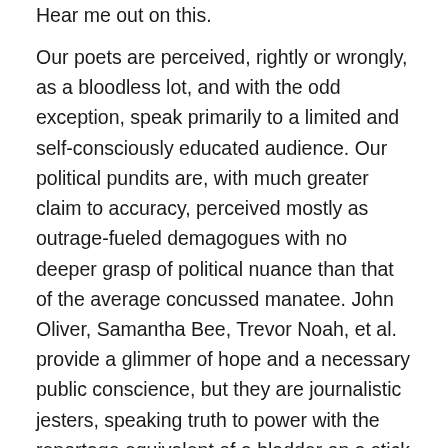Hear me out on this.
Our poets are perceived, rightly or wrongly, as a bloodless lot, and with the odd exception, speak primarily to a limited and self-consciously educated audience. Our political pundits are, with much greater claim to accuracy, perceived mostly as outrage-fueled demagogues with no deeper grasp of political nuance than that of the average concussed manatee. John Oliver, Samantha Bee, Trevor Noah, et al. provide a glimmer of hope and a necessary public conscience, but they are journalistic jesters, speaking truth to power with the reportage equivalent of a bladder on a stick (I say this with great fondness for both journalism and bladders on sticks). I'm talking about the need for erudite, informed, unabashedly prejudiced mouthpieces on all sides of the political spectrum. How much improved would our national discourse be if we